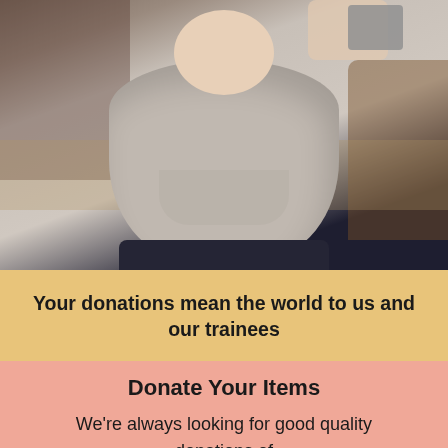[Figure (photo): A person in a grey hoodie sweatshirt holding what appears to be a tablet or device, standing in what looks like a shop or charity store. Dark trousers visible at the bottom. Store background with clothing racks and furniture.]
Your donations mean the world to us and our trainees
Donate Your Items
We're always looking for good quality donations of
Clothing, books, 50p, 40p, 70p, 80p, and 90p